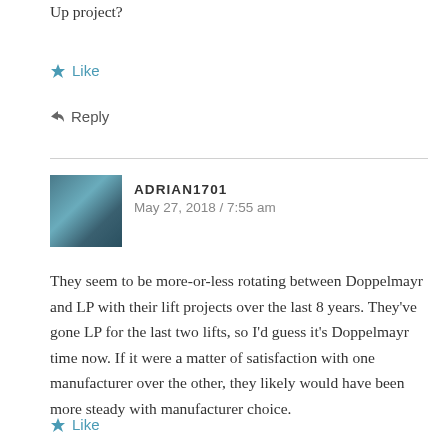Up project?
★ Like
↩ Reply
ADRIAN1701
May 27, 2018 / 7:55 am
They seem to be more-or-less rotating between Doppelmayr and LP with their lift projects over the last 8 years. They've gone LP for the last two lifts, so I'd guess it's Doppelmayr time now. If it were a matter of satisfaction with one manufacturer over the other, they likely would have been more steady with manufacturer choice.
★ Like